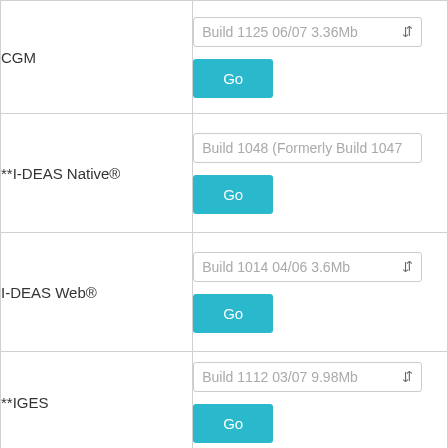| Format | Build / Action |
| --- | --- |
| CGM | Build 1125 06/07 3.36Mb | Go |
| **I-DEAS Native® | Build 1048 (Formerly Build 1047 | Go |
| I-DEAS Web® | Build 1014 04/06 3.6Mb | Go |
| **IGES | Build 1112 03/07 9.98Mb | Go |